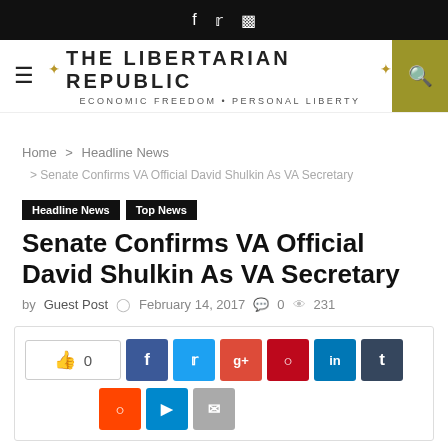THE LIBERTARIAN REPUBLIC — ECONOMIC FREEDOM + PERSONAL LIBERTY
Home > Headline News > Senate Confirms VA Official David Shulkin As VA Secretary
Headline News  Top News
Senate Confirms VA Official David Shulkin As VA Secretary
by Guest Post  February 14, 2017  0  231
[Figure (other): Social sharing buttons: like (0), Facebook, Twitter, Google+, Pinterest, LinkedIn, Tumblr, Reddit, Telegram, Email]
LISTEN TO TLR'S LATEST...